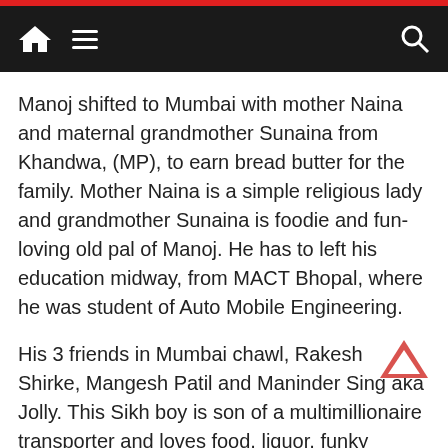Navigation bar with home, menu, and search icons
Manoj shifted to Mumbai with mother Naina and maternal grandmother Sunaina from Khandwa, (MP), to earn bread butter for the family. Mother Naina is a simple religious lady and grandmother Sunaina is foodie and fun-loving old pal of Manoj. He has to left his education midway, from MACT Bhopal, where he was student of Auto Mobile Engineering.
His 3 friends in Mumbai chawl, Rakesh Shirke, Mangesh Patil and Maninder Sing aka Jolly. This Sikh boy is son of a multimillionaire transporter and loves food, liquor, funky lifestyle. Rakesh Shirke and Mangesh Patil are simple nowadays youngsters.
Manoj's skills were used in the murder of